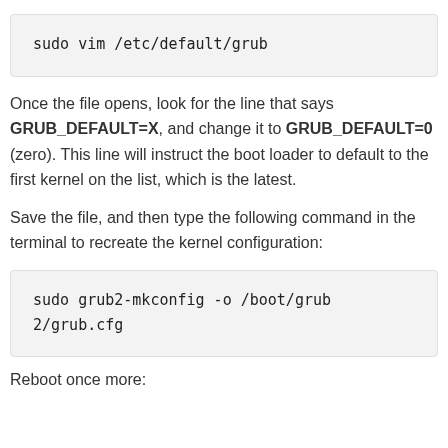sudo vim /etc/default/grub
Once the file opens, look for the line that says GRUB_DEFAULT=X, and change it to GRUB_DEFAULT=0 (zero). This line will instruct the boot loader to default to the first kernel on the list, which is the latest.
Save the file, and then type the following command in the terminal to recreate the kernel configuration:
sudo grub2-mkconfig -o /boot/grub2/grub.cfg
Reboot once more: